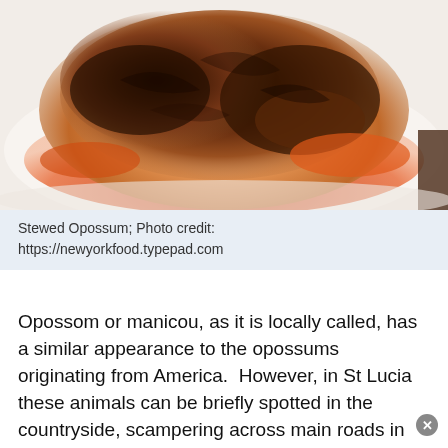[Figure (photo): A close-up photo of stewed opossum served on a white plate, covered in a dark brown sauce with orange/red coloring around the edges.]
Stewed Opossum; Photo credit: https://newyorkfood.typepad.com
Opossom or manicou, as it is locally called, has a similar appearance to the opossums originating from America.  However, in St Lucia these animals can be briefly spotted in the countryside, scampering across main roads in an attempt to avoid being accidentally run over. Stewed Opossum is a delicacy and is usually